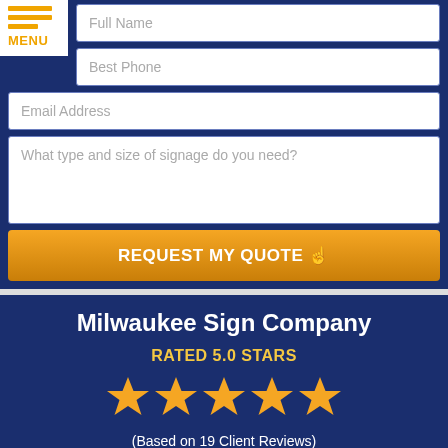[Figure (screenshot): Navigation menu icon with three orange horizontal bars and MENU label in orange]
Full Name
Best Phone
Email Address
What type and size of signage do you need?
REQUEST MY QUOTE
Milwaukee Sign Company
RATED 5.0 STARS
[Figure (illustration): Five gold/orange star rating icons]
(Based on 19 Client Reviews)
We Accept:
[Figure (illustration): Phone icon in orange circle and email/envelope icon in orange circle]